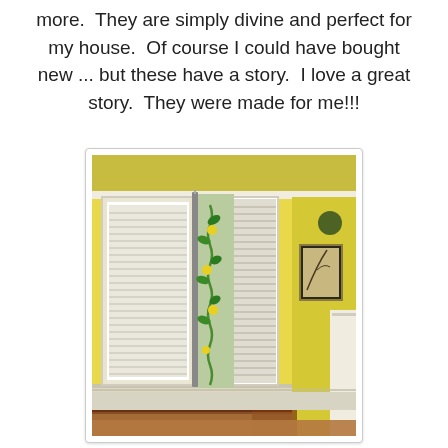more.  They are simply divine and perfect for my house.  Of course I could have bought new ... but these have a story.  I love a great story.  They were made for me!!!
[Figure (photo): Interior room photo showing a bay window area with white plantation shutters/blinds on two windows, decorative curtains with green vine and yellow flower pattern hanging between windows, yellow painted walls, white wainscoting, crown molding, a framed picture partially visible on the right wall, a wooden chair and table partially visible at the bottom, and what appears to be a white appliance or furniture on the right side.]